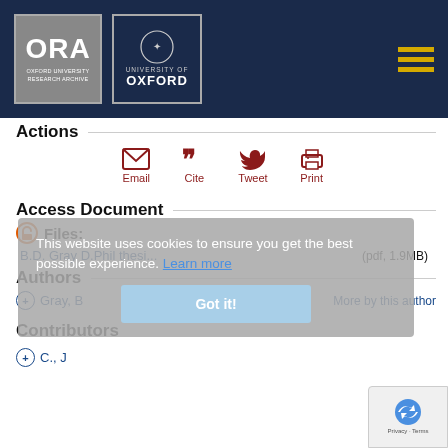[Figure (logo): ORA Oxford University Research Archive logo and University of Oxford crest logo on dark navy header with hamburger menu icon]
Actions
[Figure (infographic): Action icons: Email (envelope), Cite (quote marks), Tweet (bird), Print (printer) in dark red]
Access Document
Files:
B.D. Gray D.Phil thesi...  (pdf, 1.9MB)
Authors
+ Gray, B  More by this author
Contributors
+ C., J
This website uses cookies to ensure you get the best possible experience. Learn more
Got it!